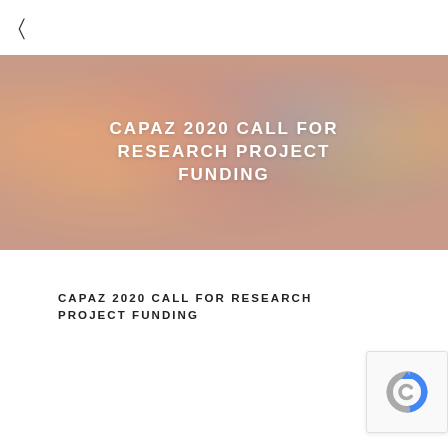☰
[Figure (photo): Colorful market scene with traditional textiles and decorative items, used as hero banner background image]
CAPAZ 2020 CALL FOR RESEARCH PROJECT FUNDING
CAPAZ 2020 CALL FOR RESEARCH PROJECT FUNDING
[Figure (other): reCAPTCHA verification widget showing the reCAPTCHA logo]